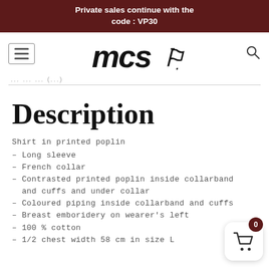Private sales continue with the code : VP30
[Figure (logo): MCS brand logo with stylized italic text and silhouette figure]
...
Description
Shirt in printed poplin
– Long sleeve
– French collar
– Contrasted printed poplin inside collarband and cuffs and under collar
– Coloured piping inside collarband and cuffs
– Breast emboridery on wearer's left
– 100 % cotton
– 1/2 chest width 58 cm in size L